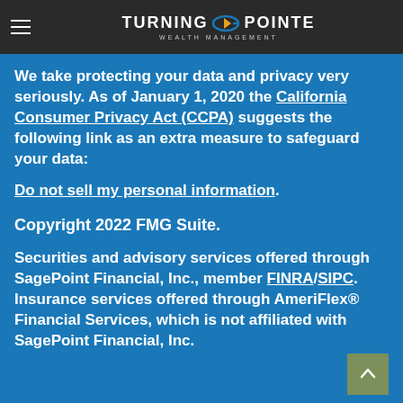Turning Pointe Wealth Management
We take protecting your data and privacy very seriously. As of January 1, 2020 the California Consumer Privacy Act (CCPA) suggests the following link as an extra measure to safeguard your data: Do not sell my personal information.
Copyright 2022 FMG Suite.
Securities and advisory services offered through SagePoint Financial, Inc., member FINRA/SIPC. Insurance services offered through AmeriFlex® Financial Services, which is not affiliated with SagePoint Financial, Inc.
The financial registered representatives